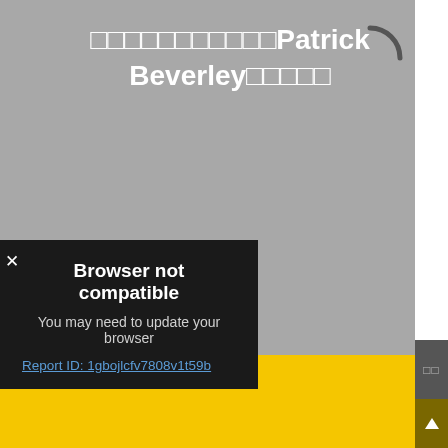[Figure (screenshot): Gray background webpage with title text containing unicode placeholder boxes followed by 'Patrick Beverley' and more placeholder boxes, a spinning arc loader in top right, a dark modal dialog showing 'Browser not compatible' error with report ID link, right-side navigation icons for bookmark and comment, and a yellow bottom navigation bar with breadcrumb 'NBA' and 'Powered by GliaStudio' text.]
□□□□□□□□□□□Patrick Beverley□□□□□
Browser not compatible
You may need to update your browser
Report ID: 1gbojlcfv7808v1t59b
□□ > NBA   Powered by GliaStudio